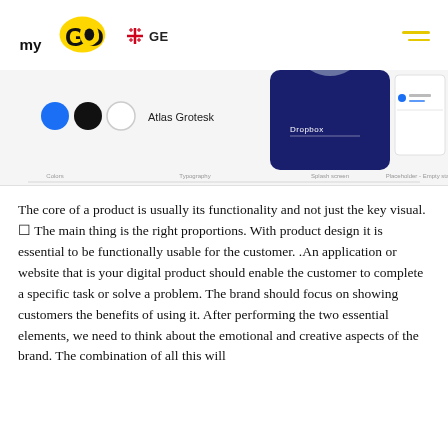[Figure (logo): myGO logo with yellow GO letters and 'my' in black, Georgian flag cross icon in red, GE text, and yellow hamburger menu icon]
[Figure (screenshot): UI design system screenshot showing color swatches (blue, black, white circles), Atlas Grotesk typography label, a dark navy mobile screen mockup with Dropbox label, and a placeholder card with login fields. Labels at bottom: Colors, Typography, Splash screen, Placeholder - Empty state]
The core of a product is usually its functionality and not just the key visual. □ The main thing is the right proportions. With product design it is essential to be functionally usable for the customer. .An application or website that is your digital product should enable the customer to complete a specific task or solve a problem. The brand should focus on showing customers the benefits of using it. After performing the two essential elements, we need to think about the emotional and creative aspects of the brand. The combination of all this will